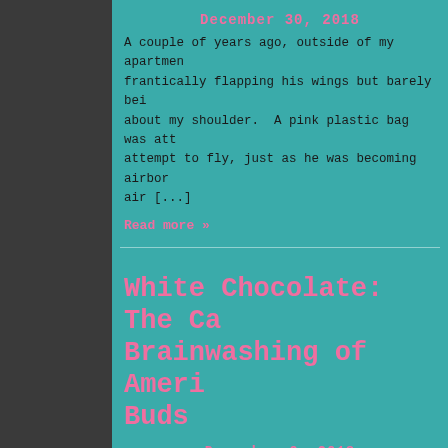December 30, 2018
A couple of years ago, outside of my apartment, frantically flapping his wings but barely be... about my shoulder.  A pink plastic bag was att... attempt to fly, just as he was becoming airborn... air [...]
Read more »
White Chocolate: The Ca... Brainwashing of Ameri... Buds
December 9, 2018